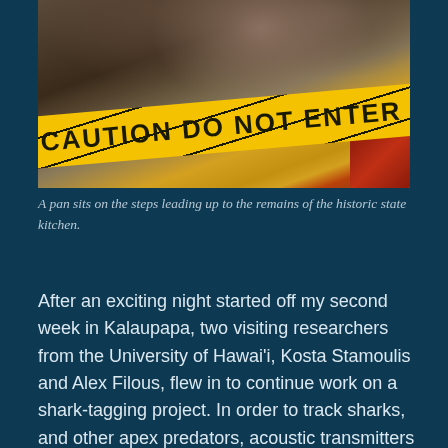[Figure (photo): A photo showing steps leading up to the remains of a historic state kitchen, with yellow caution tape reading 'CAUTION DO NOT ENTER' stretched across the scene. Stone or concrete ruins are visible, along with what appears to be a pan or pot and red fabric.]
A pan sits on the steps leading up to the remains of the historic state kitchen.
After an exciting night started off my second week in Kalaupapa, two visiting researchers from the University of Hawai'i, Kosta Stamoulis and Alex Filous, flew in to continue work on a shark-tagging project. In order to track sharks, and other apex predators, acoustic transmitters are implanted into a cavity on the underside of the fish and a plastic tag is attached at the base of the dorsal fin. These transmitters emit a coded series of pings that are then picked up and recorded by acoustic receivers that are placed strategically around the reef. The array of receivers allows for the